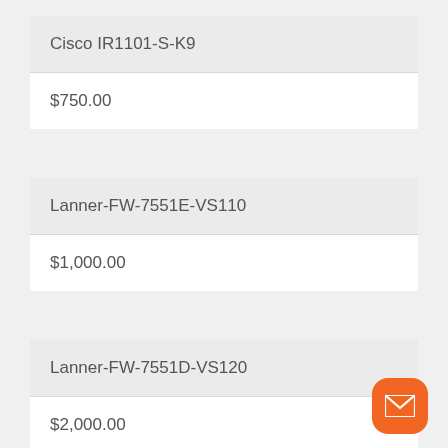Cisco IR1101-S-K9
$750.00
Lanner-FW-7551E-VS110
$1,000.00
Lanner-FW-7551D-VS120
$2,000.00